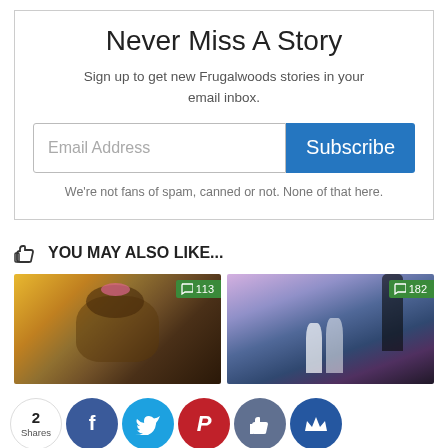Never Miss A Story
Sign up to get new Frugalwoods stories in your email inbox.
Email Address  Subscribe
We're not fans of spam, canned or not. None of that here.
YOU MAY ALSO LIKE...
[Figure (photo): Photo of a dog dressed up with bows, sitting on a chair. Comment badge showing 113.]
[Figure (photo): Photo of a couple at sunset in a field. Comment badge showing 182.]
2 Shares  Facebook  Twitter  Pinterest  Like  Crown